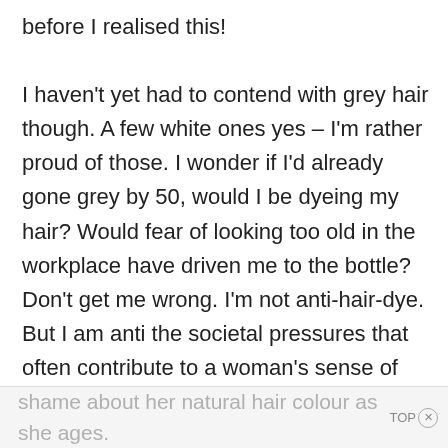before I realised this!

I haven't yet had to contend with grey hair though. A few white ones yes – I'm rather proud of those. I wonder if I'd already gone grey by 50, would I be dyeing my hair? Would fear of looking too old in the workplace have driven me to the bottle? Don't get me wrong. I'm not anti-hair-dye. But I am anti the societal pressures that often contribute to a woman's sense of
shame about her natural hair colour as she ages.